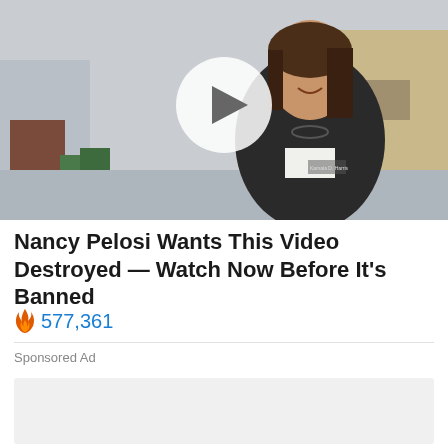[Figure (photo): Woman smiling in a dark jacket with name tag, standing outdoors in front of an industrial building. A white play button circle is overlaid in the center.]
Nancy Pelosi Wants This Video Destroyed — Watch Now Before It's Banned
🔥 577,361
Sponsored Ad
[Figure (other): Light gray advertisement placeholder box]